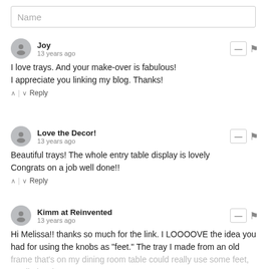Name
Joy
13 years ago
I love trays. And your make-over is fabulous!
I appreciate you linking my blog. Thanks!
^ | v Reply
Love the Decor!
13 years ago
Beautiful trays! The whole entry table display is lovely
Congrats on a job well done!!
^ | v Reply
Kimm at Reinvented
13 years ago
Hi Melissa!! thanks so much for the link. I LOOOOVE the idea you had for using the knobs as "feet." The tray I made from an old frame that's on my dining room table could really use some feet, so I'll give that a try.
Kimm